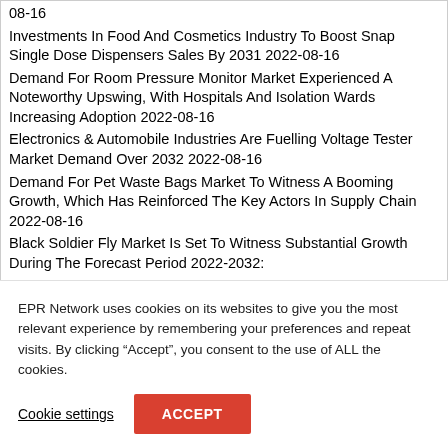08-16
Investments In Food And Cosmetics Industry To Boost Snap Single Dose Dispensers Sales By 2031 2022-08-16
Demand For Room Pressure Monitor Market Experienced A Noteworthy Upswing, With Hospitals And Isolation Wards Increasing Adoption 2022-08-16
Electronics & Automobile Industries Are Fuelling Voltage Tester Market Demand Over 2032 2022-08-16
Demand For Pet Waste Bags Market To Witness A Booming Growth, Which Has Reinforced The Key Actors In Supply Chain 2022-08-16
Black Soldier Fly Market Is Set To Witness Substantial Growth During The Forecast Period 2022-2032:
EPR Network uses cookies on its websites to give you the most relevant experience by remembering your preferences and repeat visits. By clicking “Accept”, you consent to the use of ALL the cookies.
Cookie settings
ACCEPT